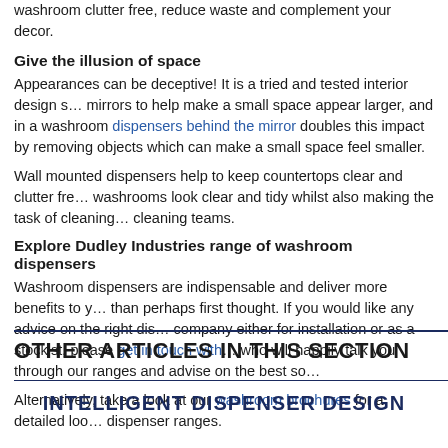washroom clutter free, reduce waste and complement your decor.
Give the illusion of space
Appearances can be deceptive! It is a tried and tested interior design strategy to use mirrors to help make a small space appear larger, and in a washroom dispensers behind the mirror doubles this impact by removing objects which can make a small space feel smaller.
Wall mounted dispensers help to keep countertops clear and clutter free, making washrooms look clear and tidy whilst also making the task of cleaning easier for cleaning teams.
Explore Dudley Industries range of washroom dispensers
Washroom dispensers are indispensable and deliver more benefits to your washroom than perhaps first thought. If you would like any advice on the right dispenser for your company either for installation or as a stockist, please get in touch with our team who will happily talk you through our ranges and advise on the best solution.
Alternatively, take a look at our washroom brochures for a detailed look at our dispenser ranges.
OTHER ARTICLES IN THIS SECTION
INTELLIGENT DISPENSER DESIGN